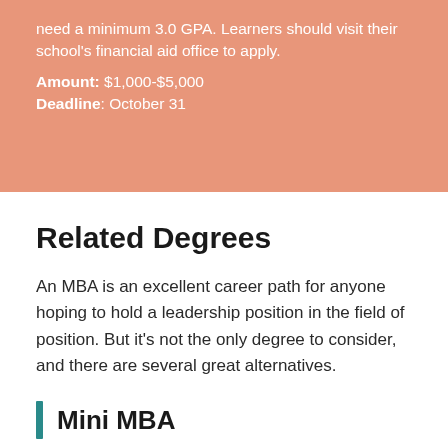need a minimum 3.0 GPA. Learners should visit their school's financial aid office to apply.
Amount: $1,000-$5,000
Deadline: October 31
Related Degrees
An MBA is an excellent career path for anyone hoping to hold a leadership position in the field of position. But it's not the only degree to consider, and there are several great alternatives.
Mini MBA